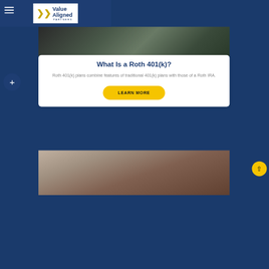Value Aligned Partners
[Figure (photo): Cropped photo of a person in a plaid shirt and yellow safety vest with arms crossed, dark background]
What Is a Roth 401(k)?
Roth 401(k) plans combine features of traditional 401(k) plans with those of a Roth IRA.
LEARN MORE
[Figure (photo): Partial photo of a person in a plaid shirt leaning over a wooden surface]